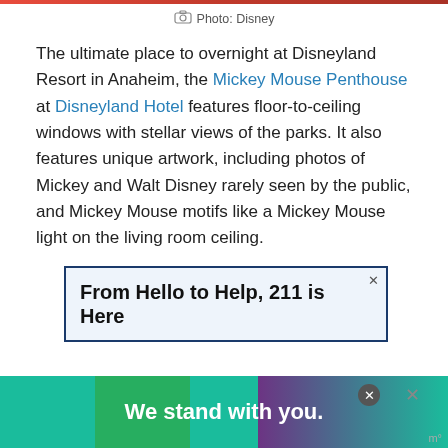Photo: Disney
The ultimate place to overnight at Disneyland Resort in Anaheim, the Mickey Mouse Penthouse at Disneyland Hotel features floor-to-ceiling windows with stellar views of the parks. It also features unique artwork, including photos of Mickey and Walt Disney rarely seen by the public, and Mickey Mouse motifs like a Mickey Mouse light on the living room ceiling.
[Figure (other): Advertisement banner reading 'From Hello to Help, 211 is Here' with close button]
[Figure (other): Bottom advertisement banner reading 'We stand with you.' with colored segments and close buttons]